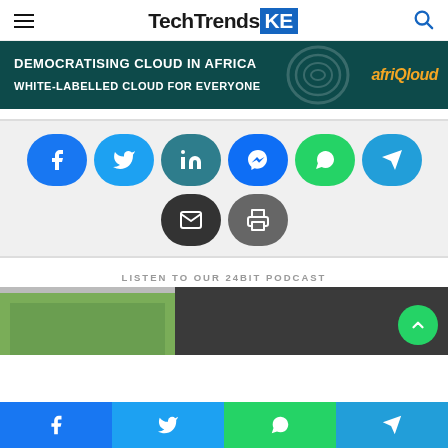TechTrendsKE
[Figure (infographic): Banner advertisement for afriQloud: DEMOCRATISING CLOUD IN AFRICA / WHITE-LABELLED CLOUD FOR EVERYONE]
[Figure (infographic): Social share buttons: Facebook, Twitter, LinkedIn, Messenger, WhatsApp, Telegram, Email, Print]
LISTEN TO OUR 24BIT PODCAST
[Figure (photo): Podcast section with building photo]
Bottom share bar: Facebook, Twitter, WhatsApp, Telegram